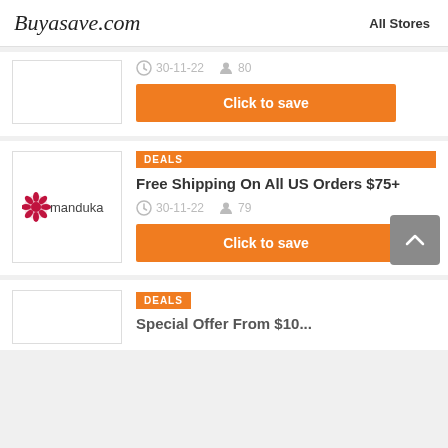Buyasave.com   All Stores
30-11-22   80   Click to save
DEALS
Free Shipping On All US Orders $75+
30-11-22   79
Click to save
DEALS
Special Offer From $10...